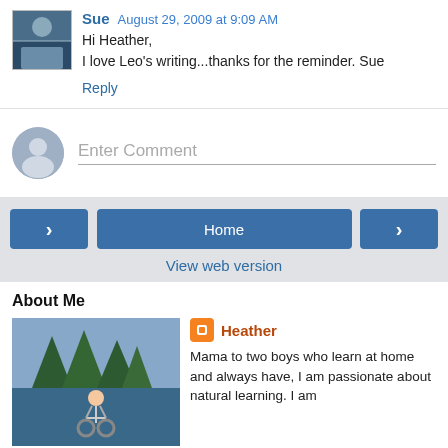Sue  August 29, 2009 at 9:09 AM
Hi Heather,
I love Leo's writing...thanks for the reminder. Sue
Reply
Enter Comment
< Home >
View web version
About Me
[Figure (photo): Heather on a bicycle outdoors with trees in background]
Heather
Mama to two boys who learn at home and always have, I am passionate about natural learning. I am also a maniacal gardener (no, really!)